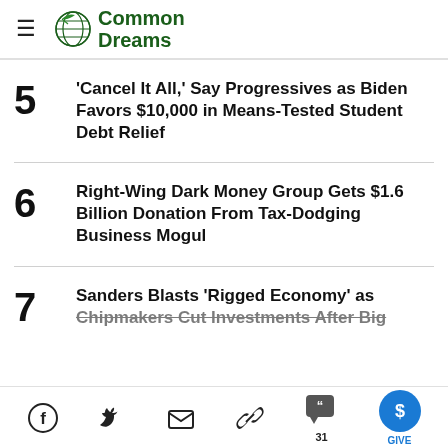Common Dreams
5 'Cancel It All,' Say Progressives as Biden Favors $10,000 in Means-Tested Student Debt Relief
6 Right-Wing Dark Money Group Gets $1.6 Billion Donation From Tax-Dodging Business Mogul
7 Sanders Blasts 'Rigged Economy' as Chipmakers Cut Investments After Big…
Social share icons: Facebook, Twitter, Email, Link, Comments (31), Give